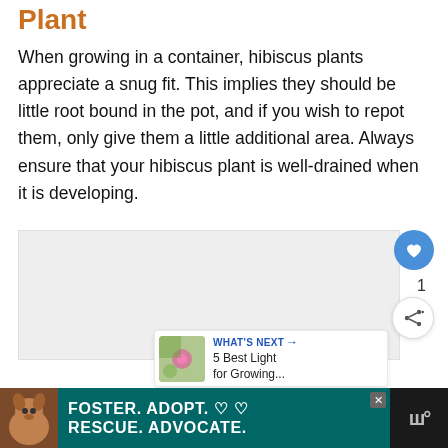Plant
When growing in a container, hibiscus plants appreciate a snug fit. This implies they should be little root bound in the pot, and if you wish to repot them, only give them a little additional area. Always ensure that your hibiscus plant is well-drained when it is developing.
[Figure (other): Gray placeholder content box with social interaction buttons (like heart button showing count of 1, and share button), and a 'What's Next' recommendation card showing '5 Best Light for Growing...' with a thumbnail image.]
[Figure (other): Advertisement banner at the bottom: black and teal background with a dog image on left, text 'FOSTER. ADOPT. RESCUE. ADVOCATE.' with heart symbols, a close button, and a logo on the right.]